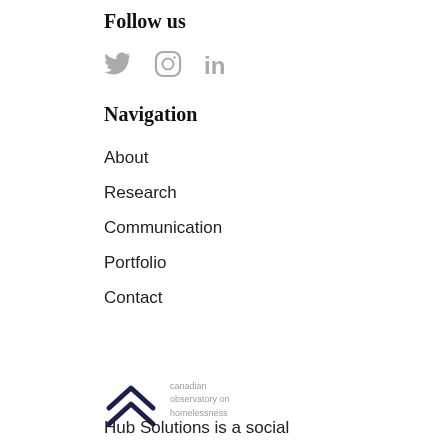Follow us
[Figure (illustration): Social media icons: Twitter bird, Instagram camera outline, LinkedIn 'in' logo, all in light gray]
Navigation
About
Research
Communication
Portfolio
Contact
[Figure (logo): Canadian Observatory on Homelessness logo: two upward-pointing chevrons in dark navy, with text 'canadian observatory on homelessness' in gray]
Hub Solutions is a social enterprise of the Canadian